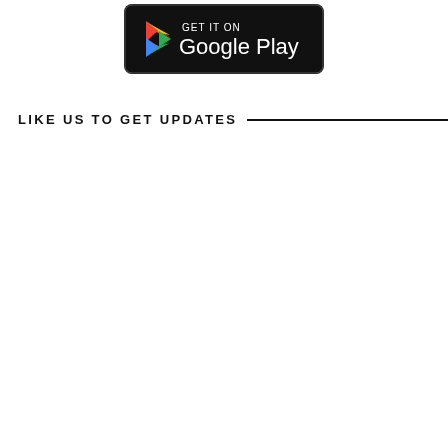[Figure (logo): Google Play store badge with black rounded rectangle background, Google Play triangle logo in multicolor (red, yellow, green, blue) and text 'GET IT ON' above 'Google Play' in white]
LIKE US TO GET UPDATES